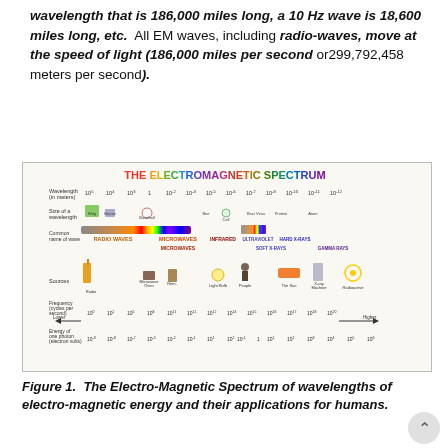wavelength that is 186,000 miles long, a 10 Hz wave is 18,600 miles long, etc.  All EM waves, including radio-waves, move at the speed of light (186,000 miles per second or299,792,458 meters per second).
[Figure (infographic): The Electromagnetic Spectrum diagram showing wavelength in meters from 10^5 to 10^-12, sizes of waves compared to familiar objects, common names of waves (radio waves, microwaves, infrared, visible light, ultraviolet, X-rays, gamma rays), sources of waves, frequency in cycles per second, and energy of one photon in electron volts.]
Figure 1.  The Electro-Magnetic Spectrum of wavelengths of electro-magnetic energy and their applications for humans.